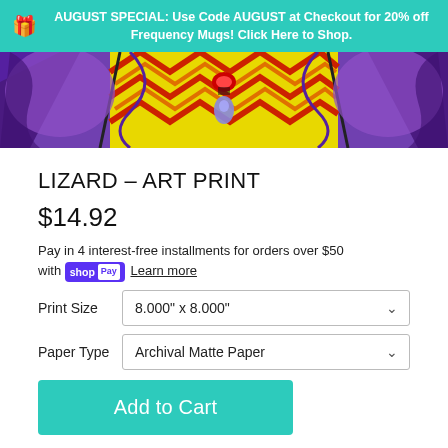AUGUST SPECIAL: Use Code AUGUST at Checkout for 20% off Frequency Mugs! Click Here to Shop.
[Figure (photo): Close-up of colorful lizard art print with purple, yellow, red, and orange zigzag patterns]
LIZARD - ART PRINT
$14.92
Pay in 4 interest-free installments for orders over $50 with shop Pay  Learn more
Print Size  8.000" x 8.000"
Paper Type  Archival Matte Paper
Add to Cart